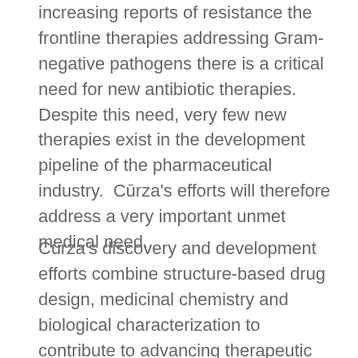increasing reports of resistance the frontline therapies addressing Gram-negative pathogens there is a critical need for new antibiotic therapies. Despite this need, very few new therapies exist in the development pipeline of the pharmaceutical industry.  Cūrza's efforts will therefore address a very important unmet medical need.
Cūrza's discovery and development efforts combine structure-based drug design, medicinal chemistry and biological characterization to contribute to advancing therapeutic candidates that are potent antimicrobials with high selectivity for bacterial ribosomes as compared to